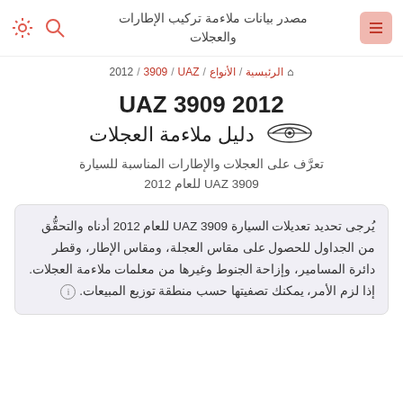مصدر بيانات ملاءمة تركيب الإطارات والعجلات
الرئيسية / الأنواع / UAZ / 3909 / 2012
UAZ 3909 2012
دليل ملاءمة العجلات
تعرَّف على العجلات والإطارات المناسبة للسيارة UAZ 3909 للعام 2012
يُرجى تحديد تعديلات السيارة UAZ 3909 للعام 2012 أدناه والتحقُّق من الجداول للحصول على مقاس العجلة، ومقاس الإطار، وقطر دائرة المسامير، وإزاحة الجنوط وغيرها من معلمات ملاءمة العجلات. إذا لزم الأمر، يمكنك تصفيتها حسب منطقة توزيع المبيعات.